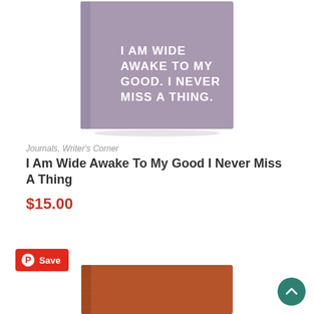[Figure (photo): A lavender/purple hardcover journal with white bold text reading 'I AM WIDE AWAKE TO MY GOOD. I NEVER MISS A THING.' shown at an angle on white background]
Journals, Writer's Corner
I Am Wide Awake To My Good I Never Miss A Thing
$15.00
[Figure (infographic): Pinterest Save button — red rounded rectangle with Pinterest circle logo icon and text 'Save']
[Figure (photo): A brown/tan leather hardcover journal shown partially at bottom of page]
[Figure (illustration): Teal circular scroll-to-top button with upward chevron arrow in bottom right corner]